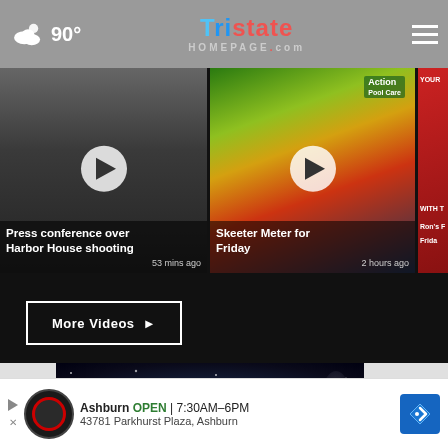TristateHomepage.com — 90°
[Figure (screenshot): Video thumbnail: Press conference over Harbor House shooting, 53 mins ago]
[Figure (screenshot): Video thumbnail: Skeeter Meter for Friday, 2 hours ago]
[Figure (screenshot): Video thumbnail: Ron's Friday (partially cropped)]
Press conference over Harbor House shooting
53 mins ago
Skeeter Meter for Friday
2 hours ago
Ron's Friday (partially visible)
More Videos ▶
[Figure (screenshot): Dark starfield/space background video preview with close (x) button]
[Figure (infographic): Advertisement banner: Ashburn OPEN 7:30AM–6PM, 43781 Parkhurst Plaza, Ashburn — Tire Auto logo and navigation icon]